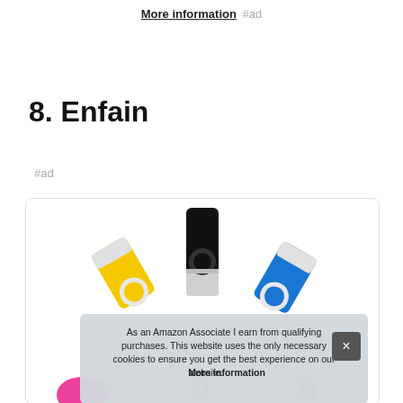More information #ad
8. Enfain
#ad
[Figure (photo): Product card showing three USB flash drives (yellow, black/silver, blue) in a white card with rounded border. A cookie consent overlay partially covers the bottom of the image.]
As an Amazon Associate I earn from qualifying purchases. This website uses the only necessary cookies to ensure you get the best experience on our website. More information